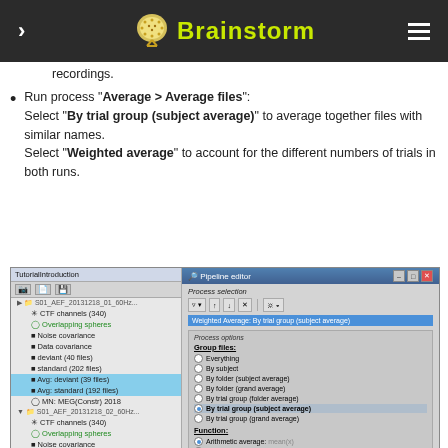Brainstorm
recordings.
Run process "Average > Average files": Select "By trial group (subject average)" to average together files with similar names. Select "Weighted average" to account for the different numbers of trials in both runs.
[Figure (screenshot): Screenshot of Brainstorm application showing TutorialIntroduction panel on the left with file tree listing CTF channels, Overlapping spheres, Noise covariance, Data covariance, deviant/standard files, and Pipeline editor on the right with Process selection showing 'Weighted Average: By trial group (subject average)' selected, Process options with Group files radio buttons (By trial group (subject average) selected) and Function options including Arithmetic average, Average absolute values, Root mean square, Standard deviation, Standard error.]